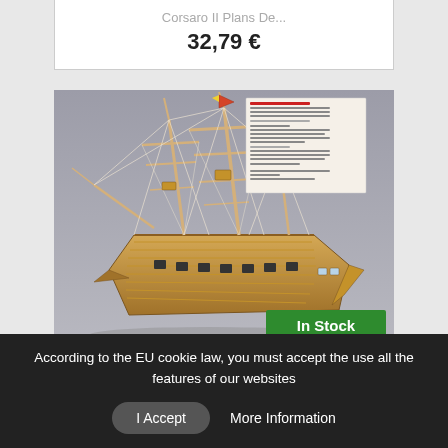Corsaro II Plans De...
32,79 €
[Figure (photo): A wooden model tall ship (Corsaro II) with multiple masts, white rigging and sails on a grey background. An 'In Stock' green badge is shown in the bottom right of the image.]
According to the EU cookie law, you must accept the use all the features of our websites
I Accept
More Information